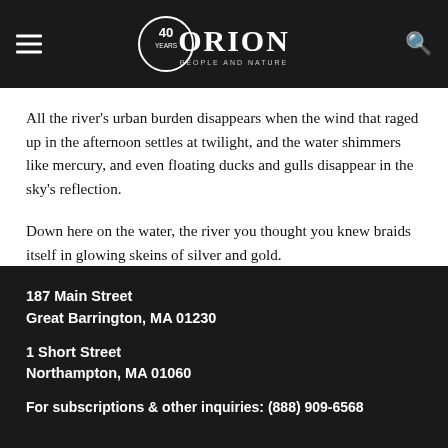carcass, and somewhere there was an owner beret. The hardest thing? A cat-… floating on an inner tube.
[Figure (logo): Orion magazine logo with '40 years' badge, People and Nature tagline, hamburger menu icon on left, search icon on right, on dark background header bar]
All the river’s urban burden disappears when the wind that raged up in the afternoon settles at twilight, and the water shimmers like mercury, and even floating ducks and gulls disappear in the sky’s reflection.
Down here on the water, the river you thought you knew braids itself in glowing skeins of silver and gold.
187 Main Street
Great Barrington, MA 01230

1 Short Street
Northampton, MA 01060

For subscriptions & other inquiries: (888) 909-6568